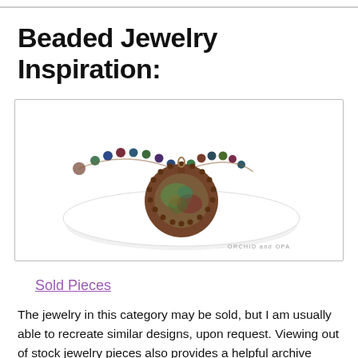Beaded Jewelry Inspiration:
[Figure (photo): A beaded necklace with a round stone pendant surrounded by copper seed beads, displayed on a white surface. The necklace chain has colorful gemstone beads in dark blue, teal, green, and burgundy. Watermark text reads 'ORCHID and OPA'.]
Sold Pieces
The jewelry in this category may be sold, but I am usually able to recreate similar designs, upon request. Viewing out of stock jewelry pieces also provides a helpful archive